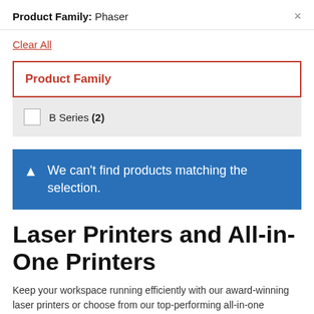Product Family: Phaser ×
Clear All
Product Family
B Series (2)
We can't find products matching the selection.
Laser Printers and All-in-One Printers
Keep your workspace running efficiently with our award-winning laser printers or choose from our top-performing all-in-one